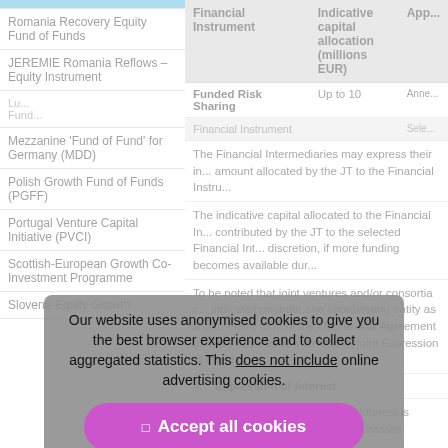|  | Financial Instrument | Indicative capital allocation (millions EUR) | App... |
| --- | --- | --- | --- |
| Romania Recovery Equity Fund of Funds |  |  |  |
| JEREMIE Romania Reflows – Equity Instrument | Funded Risk Sharing Financial Instrument | Up to 10 | Anne... Sele... |
| Lu... Fund... |  |  |  |
| Mezzanine 'Fund of Fund' for Germany (MDD) |  |  |  |
| Polish Growth Fund of Funds (PGFF) |  |  |  |
| Portugal Venture Capital Initiative (PVCI) |  |  |  |
| Scottish-European Growth Co-Investment Programme |  |  |  |
| Slovene Equity Growth |  |  |  |
The Financial Intermediaries may express their interest in the amount allocated by the JT to the Financial Instrument.
The indicative capital allocated to the Financial Instrument contributed by the JT to the selected Financial Intermediary, at its discretion, if more funding becomes available during...
To be noted that joint ventures and/or consortia of indicate/nominate one coordinating entity as a contact entire term of the Operational Agreement (in case required to submit one, joint Expression of Interest...
4.    Expression of Interest
A template for the Expression of Interest is attached and found at the following addresses: www.eif.org , w...
The Expression of Interest includes the An...
Our website uses anonymised cookies to give you the best browser experience and to collect aggregated statistics. This does not include online advertising cookies.
Accept all cookies
Refuse non-essential cookies
Manage cookies